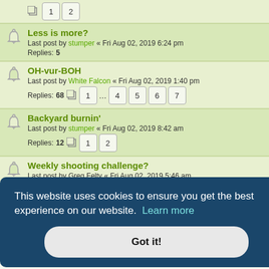Pagination row with page buttons 1 2
Less is more? - Last post by stumper « Fri Aug 02, 2019 6:24 pm - Replies: 5
OH-vur-BOH - Last post by White Falcon « Fri Aug 02, 2019 1:40 pm - Replies: 68 - Pages: 1 ... 4 5 6 7
Backyard burnin' - Last post by stumper « Fri Aug 02, 2019 8:42 am - Replies: 12 - Pages: 1 2
Weekly shooting challenge? - Last post by Greg Felty « Fri Aug 02, 2019 5:46 am - Replies: 9
New Topic button and sort button toolbar
This website uses cookies to ensure you get the best experience on our website. Learn more
Got it!
You cannot edit your posts in this forum